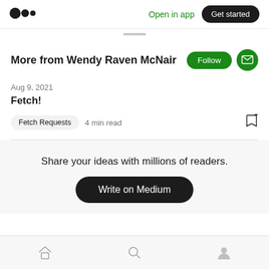Medium logo | Open in app | Get started
More from Wendy Raven McNair
Aug 9, 2021
Fetch!
Fetch Requests  4 min read
Share your ideas with millions of readers.
Write on Medium
Home | Search | Profile